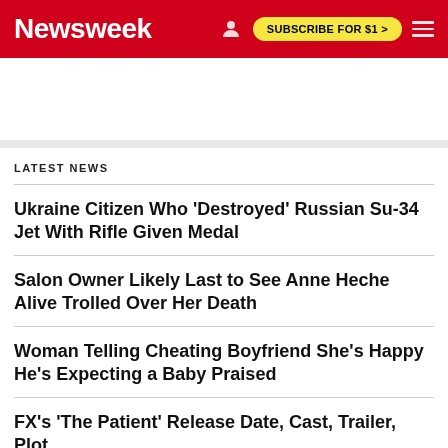Newsweek | SUBSCRIBE FOR $1 >
LATEST NEWS
Ukraine Citizen Who 'Destroyed' Russian Su-34 Jet With Rifle Given Medal
Salon Owner Likely Last to See Anne Heche Alive Trolled Over Her Death
Woman Telling Cheating Boyfriend She's Happy He's Expecting a Baby Praised
FX's 'The Patient' Release Date, Cast, Trailer, Plot
Putin Replaces Navy Chief Igor Osipov After Moskva Flagship